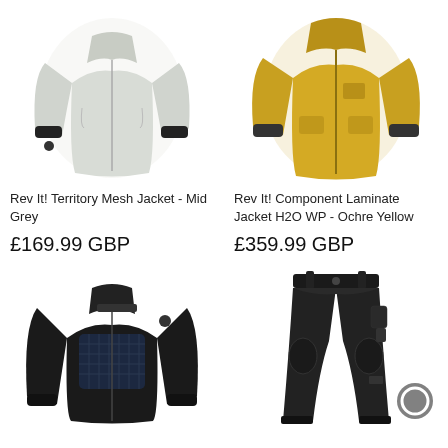[Figure (photo): Rev It! Territory Mesh Jacket in Mid Grey color, motorcycle jacket product photo on white background]
[Figure (photo): Rev It! Component Laminate Jacket H2O WP in Ochre Yellow color, motorcycle jacket product photo on white background]
Rev It! Territory Mesh Jacket - Mid Grey
£169.99 GBP
Rev It! Component Laminate Jacket H2O WP - Ochre Yellow
£359.99 GBP
[Figure (photo): Rev It! black protective motorcycle underjacket/protector shirt, black color, product photo on white background]
[Figure (photo): Black motorcycle trousers/pants, with grey circular chat button overlay in bottom right corner]